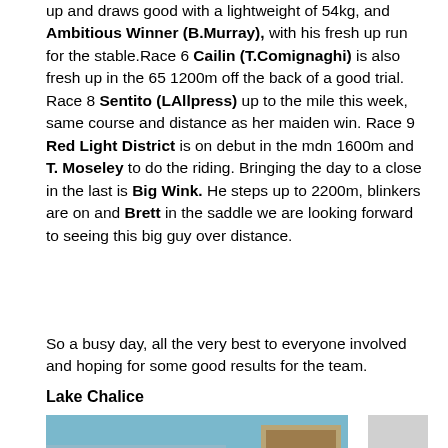up and draws good with a lightweight of 54kg, and Ambitious Winner (B.Murray), with his fresh up run for the stable.Race 6 Cailin (T.Comignaghi) is also fresh up in the 65 1200m off the back of a good trial. Race 8 Sentito (LAllpress) up to the mile this week, same course and distance as her maiden win. Race 9 Red Light District is on debut in the mdn 1600m and T. Moseley to do the riding. Bringing the day to a close in the last is Big Wink. He steps up to 2200m, blinkers are on and Brett in the saddle we are looking forward to seeing this big guy over distance.
So a busy day, all the very best to everyone involved and hoping for some good results for the team.
Lake Chalice
[Figure (photo): Horse racing photo showing horses racing at a track, with a banner visible reading 'NZ ZEALAND' and 'CANTERBURY JOCKEY CLU']